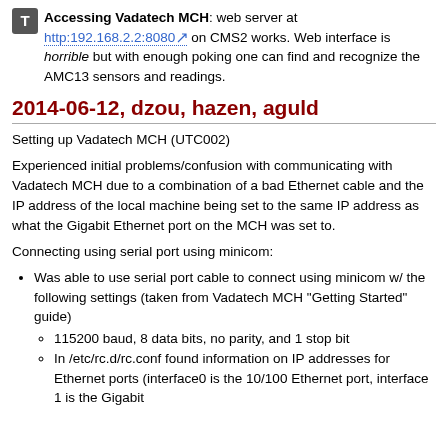Accessing Vadatech MCH: web server at http:192.168.2.2:8080 on CMS2 works. Web interface is horrible but with enough poking one can find and recognize the AMC13 sensors and readings.
2014-06-12, dzou, hazen, aguld
Setting up Vadatech MCH (UTC002)
Experienced initial problems/confusion with communicating with Vadatech MCH due to a combination of a bad Ethernet cable and the IP address of the local machine being set to the same IP address as what the Gigabit Ethernet port on the MCH was set to.
Connecting using serial port using minicom:
Was able to use serial port cable to connect using minicom w/ the following settings (taken from Vadatech MCH "Getting Started" guide)
115200 baud, 8 data bits, no parity, and 1 stop bit
In /etc/rc.d/rc.conf found information on IP addresses for Ethernet ports (interface0 is the 10/100 Ethernet port, interface 1 is the Gigabit